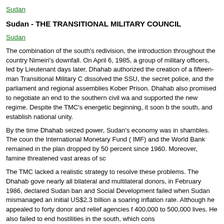Sudan
Sudan - THE TRANSITIONAL MILITARY COUNCIL
Sudan
The combination of the south's redivision, the introduction throughout the country Nimeiri's downfall. On April 6, 1985, a group of military officers, led by Lieutenant days later, Dhahab authorized the creation of a fifteen-man Transitional Military C dissolved the SSU, the secret police, and the parliament and regional assemblies Kober Prison. Dhahab also promised to negotiate an end to the southern civil wa and supported the new regime. Despite the TMC's energetic beginning, it soon b the south, and establish national unity.
By the time Dhahab seized power, Sudan's economy was in shambles. The coun the International Monetary Fund ( IMF) and the World Bank remained in the plan dropped by 50 percent since 1960. Moreover, famine threatened vast areas of sc
The TMC lacked a realistic strategy to resolve these problems. The Dhahab gove nearly all bilateral and multilateral donors, in February 1986, declared Sudan ban and Social Development failed when Sudan mismanaged an initial US$2.3 billion a soaring inflation rate. Although he appealed to forty donor and relief agencies f 400,000 to 500,000 lives. He also failed to end hostilities in the south, which cons
Shortly after taking power, Dhahab adopted a conciliatory approach toward the s and offered an amnesty to rebel fighters. The TMC recognized the need for speci problem. However, Dhahab's refusal to repeal the sharia negated these overtures south.
Despite this gulf, both sides continued to work for a peaceful resolution of the sou Declaration, which called for a Sudan "free from racism, tribalism, sectarianism a and the opening of a constitutional conference. All major political parties and org